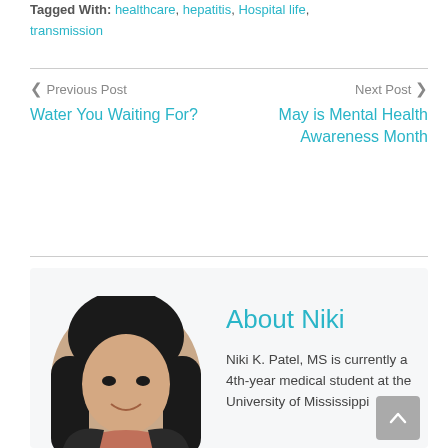Tagged With: healthcare, hepatitis, Hospital life, transmission
< Previous Post
Water You Waiting For?
Next Post >
May is Mental Health Awareness Month
[Figure (photo): Author bio section with photo of Niki K. Patel, a woman with long dark hair wearing a blazer]
About Niki
Niki K. Patel, MS is currently a 4th-year medical student at the University of Mississippi